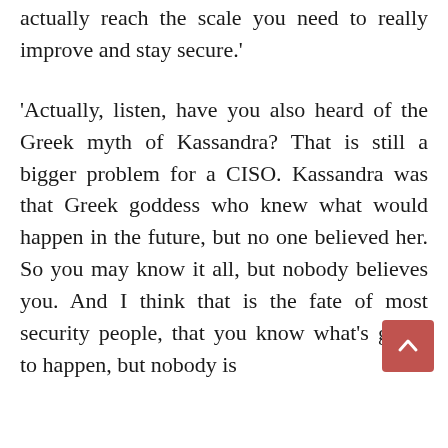actually reach the scale you need to really improve and stay secure.'
'Actually, listen, have you also heard of the Greek myth of Kassandra? That is still a bigger problem for a CISO. Kassandra was that Greek goddess who knew what would happen in the future, but no one believed her. So you may know it all, but nobody believes you. And I think that is the fate of most security people, that you know what's going to happen, but nobody is